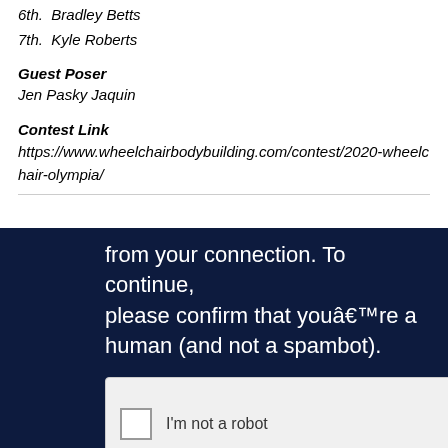6th.  Bradley Betts
7th.  Kyle Roberts
Guest Poser
Jen Pasky Jaquin
Contest Link
https://www.wheelchairbodybuilding.com/contest/2020-wheelchair-olympia/
[Figure (screenshot): Dark navy background screenshot showing a CAPTCHA verification prompt: 'from your connection. To continue, please confirm that youâ€™re a human (and not a spambot).' with a reCAPTCHA checkbox widget showing 'I'm not a robot' and the reCAPTCHA logo with Privacy - Terms links.]